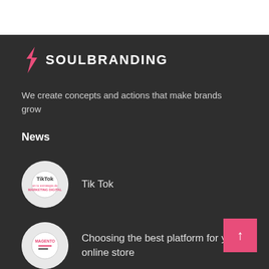[Figure (logo): SoulBranding logo with pink lightning bolt and white uppercase text SOULBRANDING]
We create concepts and actions that make brands grow
News
[Figure (illustration): Circular thumbnail for TikTok article showing TikTok logo and text about marketing digital strategy]
Tik Tok
[Figure (illustration): Circular thumbnail for Magento article showing Magento logo]
Choosing the best platform for your online store